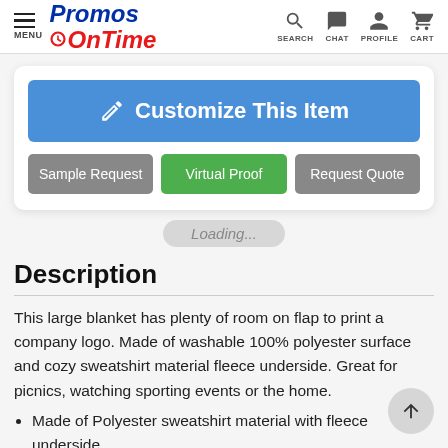Promos OnTime — MENU | SEARCH | CHAT | PROFILE | CART
[Figure (screenshot): Blue 'Customize This Item' button with pencil/edit icon]
Sample Request   Virtual Proof   Request Quote
Loading...
Description
This large blanket has plenty of room on flap to print a company logo. Made of washable 100% polyester surface and cozy sweatshirt material fleece underside. Great for picnics, watching sporting events or the home.
Made of Polyester sweatshirt material with fleece underside.